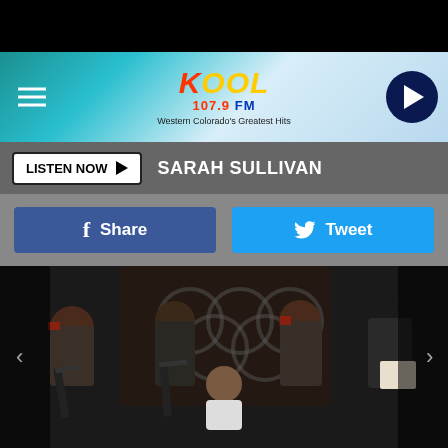[Figure (screenshot): Black top bar area]
KOOL 107.9 FM — Western Colorado's Greatest Hits
LISTEN NOW ▶  SARAH SULLIVAN
f Share   🐦 Tweet
[Figure (photo): Armed masked militants holding weapons surrounding a kneeling captive in front of a dark backdrop with circular symbols]